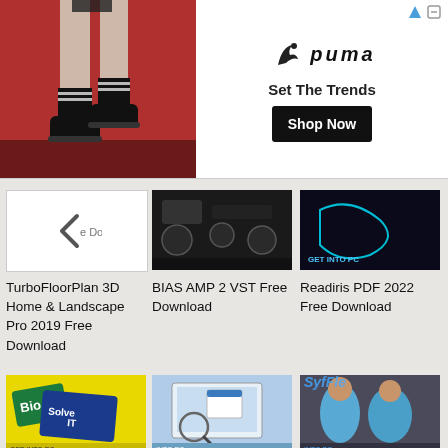[Figure (photo): Puma advertisement banner showing person wearing black sneakers against red background, with Puma logo, 'Set The Trends' text, and 'Shop Now' button]
[Figure (screenshot): TurboFloorPlan 3D Home thumbnail - dark image]
TurboFloorPlan 3D Home & Landscape Pro 2019 Free Download
[Figure (screenshot): BIAS AMP 2 VST thumbnail - dark image]
BIAS AMP 2 VST Free Download
[Figure (screenshot): Readiris PDF 2022 thumbnail - dark image with GET INTO PC text]
Readiris PDF 2022 Free Download
[Figure (photo): BioSolveIT SeeSAR thumbnail - yellow background with Bio and Solve IT logos]
BioSolveIT SeeSAR Free Download
[Figure (screenshot): HHD Device Monitoring Studio Ultimate 2021 thumbnail]
HHD Device Monitoring Studio Ultimate 2021 Free
[Figure (photo): Syflex Cloth for Cinema 4D R20 thumbnail showing 3D character models]
Download Syflex Cloth for Cinema 4D R20